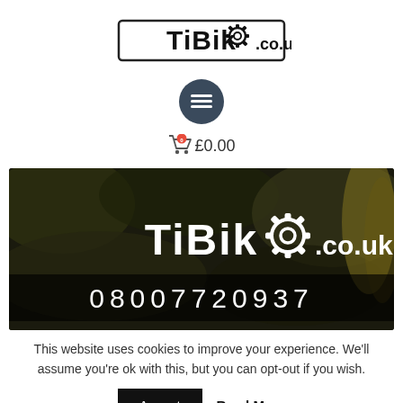[Figure (logo): TiBike.co.uk logo with gear icon replacing the letter e]
[Figure (screenshot): Dark circular button with three horizontal lines (hamburger/menu icon)]
[Figure (screenshot): Shopping cart icon with red badge showing 0 and text £0.00]
[Figure (photo): TiBike.co.uk banner image showing the logo and phone number 08007720937 on a dark camouflage background]
This website uses cookies to improve your experience. We'll assume you're ok with this, but you can opt-out if you wish.
Accept   Read More